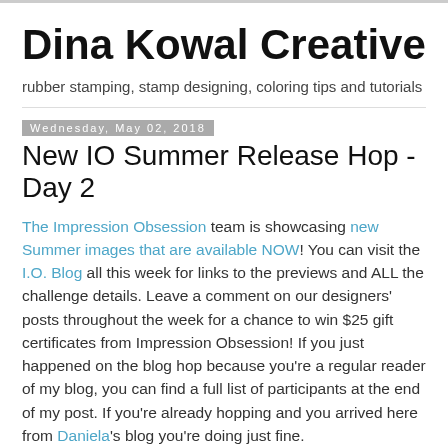Dina Kowal Creative
rubber stamping, stamp designing, coloring tips and tutorials
Wednesday, May 02, 2018
New IO Summer Release Hop - Day 2
The Impression Obsession team is showcasing new Summer images that are available NOW! You can visit the I.O. Blog all this week for links to the previews and ALL the challenge details. Leave a comment on our designers' posts throughout the week for a chance to win $25 gift certificates from Impression Obsession! If you just happened on the blog hop because you're a regular reader of my blog, you can find a full list of participants at the end of my post. If you're already hopping and you arrived here from Daniela's blog you're doing just fine.